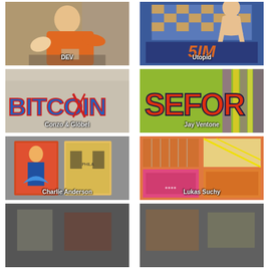[Figure (photo): Painting of a person in an orange shirt seated, artwork labeled DEV]
[Figure (photo): Painting with chess board and figure, artwork labeled Utopid]
[Figure (photo): Graffiti artwork spelling BITCOIN, by Conzo & Glöbel]
[Figure (photo): Colorful graffiti on green background, by Jay Ventone]
[Figure (photo): Street art installation with poster-style artwork, by Charlie Anderson]
[Figure (photo): Grid of colorful abstract paintings, by Lukas Suchy]
[Figure (photo): Partial view of artwork at bottom left]
[Figure (photo): Partial view of artwork at bottom right]